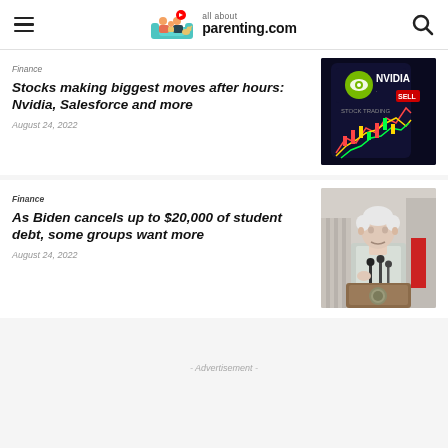all about parenting.com
Finance
Stocks making biggest moves after hours: Nvidia, Salesforce and more
August 24, 2022
[Figure (photo): Nvidia stock trading app shown on a smartphone with colorful stock chart in background]
Finance
As Biden cancels up to $20,000 of student debt, some groups want more
August 24, 2022
[Figure (photo): President Biden speaking at a podium with presidential seal, wearing a light blue shirt]
- Advertisement -